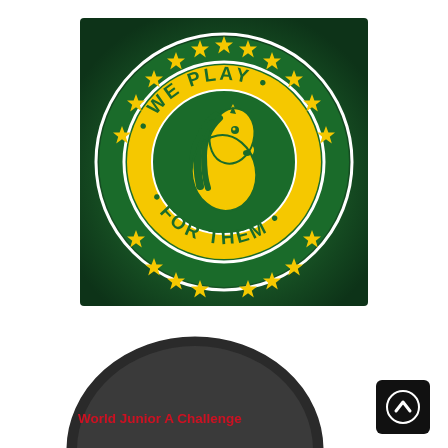[Figure (logo): Circular green and yellow logo with text 'WE PLAY FOR THEM' around the border with stars, and a horse head illustration in the center]
[Figure (photo): Bottom portion of a dark/black hockey puck shape partially visible]
World Junior A Challenge